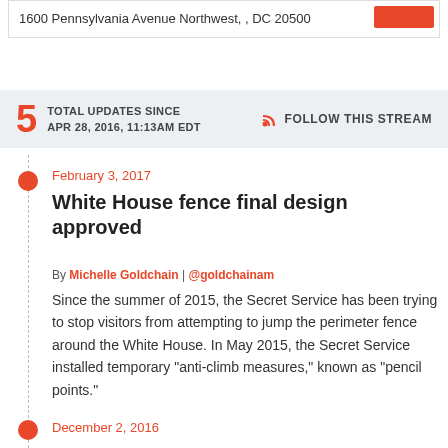1600 Pennsylvania Avenue Northwest, , DC 20500
5 TOTAL UPDATES SINCE APR 28, 2016, 11:13AM EDT
FOLLOW THIS STREAM
February 3, 2017
White House fence final design approved
By Michelle Goldchain | @goldchainam
Since the summer of 2015, the Secret Service has been trying to stop visitors from attempting to jump the perimeter fence around the White House. In May 2015, the Secret Service installed temporary "anti-climb measures," known as "pencil points."
December 2, 2016